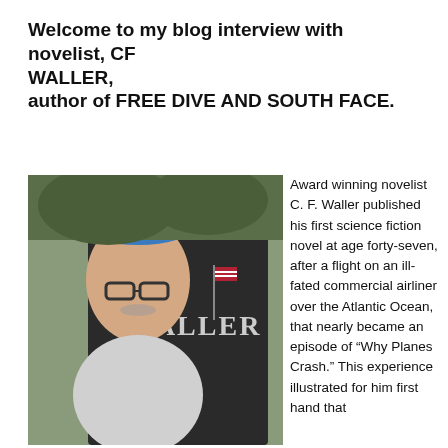Welcome to my blog interview with novelist, CF WALLER, author of FREE DIVE AND SOUTH FACE.
[Figure (photo): Man taking a selfie in front of a gravestone inscribed with the name WALLER. The stone also shows 'KAY 1944' and 'CHARLES LINN JAN. 3, 1943 JULY 3, 2000'. An American flag is visible in the background along with trees.]
Award winning novelist C. F. Waller published his first science fiction novel at age forty-seven, after a flight on an ill-fated commercial airliner over the Atlantic Ocean, that nearly became an episode of “Why Planes Crash.” This experience illustrated for him first hand that